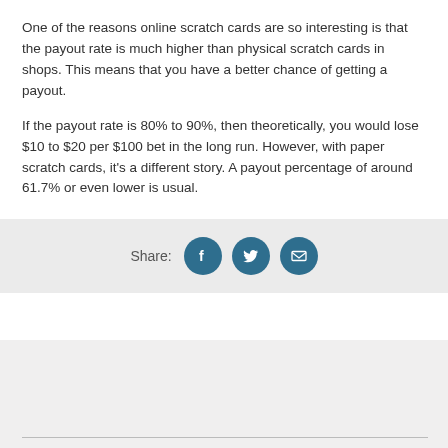One of the reasons online scratch cards are so interesting is that the payout rate is much higher than physical scratch cards in shops. This means that you have a better chance of getting a payout.
If the payout rate is 80% to 90%, then theoretically, you would lose $10 to $20 per $100 bet in the long run. However, with paper scratch cards, it's a different story. A payout percentage of around 61.7% or even lower is usual.
[Figure (infographic): Share bar with label 'Share:' and three circular social media icon buttons (Facebook, Twitter, Email) in teal/dark blue color]